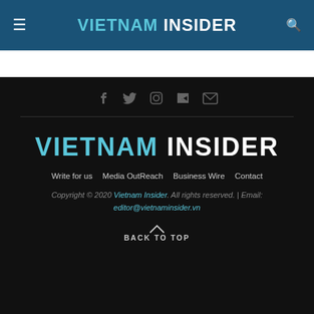VIETNAM INSIDER
[Figure (other): Social media icons: Facebook, Twitter, Instagram, LinkedIn, Email]
[Figure (logo): Vietnam Insider logo in footer]
Write for us   Media OutReach   Business Wire   Contact
Copyright © 2020 Vietnam Insider. All rights reserved. | Email: editor@vietnaminsider.vn
BACK TO TOP